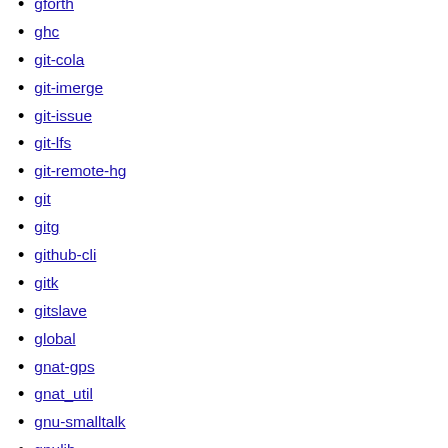gforth
ghc
git-cola
git-imerge
git-issue
git-lfs
git-remote-hg
git
gitg
github-cli
gitk
gitslave
global
gnat-gps
gnat_util
gnu-smalltalk
gnulib
gnusim8085
go
googletest
gource
gperf
gprbuild
graphviz
greg